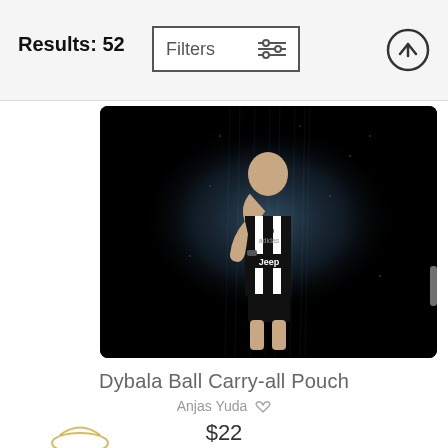Results: 52
Filters
[Figure (photo): A soccer player in a black and white Juventus jersey with Jeep sponsor, posed with hand near face, on a dark atmospheric background]
Dybala Ball Carry-all Pouch
Anjas Yuda
$22